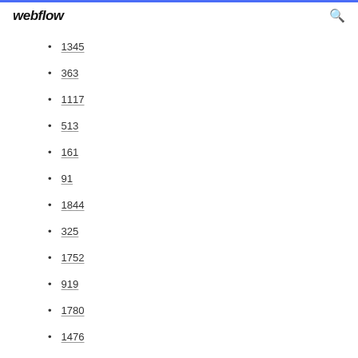webflow
1345
363
1117
513
161
91
1844
325
1752
919
1780
1476